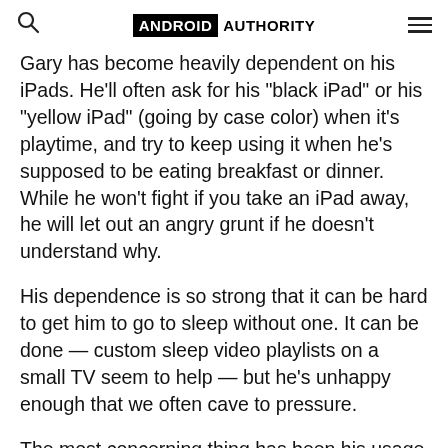ANDROID AUTHORITY
Gary has become heavily dependent on his iPads. He’ll often ask for his “black iPad” or his “yellow iPad” (going by case color) when it’s playtime, and try to keep using it when he’s supposed to be eating breakfast or dinner. While he won’t fight if you take an iPad away, he will let out an angry grunt if he doesn’t understand why.
His dependence is so strong that it can be hard to get him to go to sleep without one. It can be done — custom sleep video playlists on a small TV seem to help — but he’s unhappy enough that we often cave to pressure.
The most concerning thing has been his usage habits. While he still occasionally plays games and